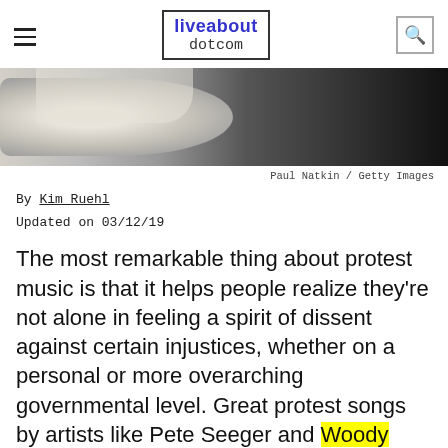liveabout dotcom
[Figure (photo): Black and white photograph of a person, partially visible, wearing a light-colored shirt against a dark background.]
Paul Natkin / Getty Images
By Kim Ruehl
Updated on 03/12/19
The most remarkable thing about protest music is that it helps people realize they're not alone in feeling a spirit of dissent against certain injustices, whether on a personal or more overarching governmental level. Great protest songs by artists like Pete Seeger and Woody Guthrie are so infectious, you can't help but sing along. This is hugely effective in creating a sense of community,